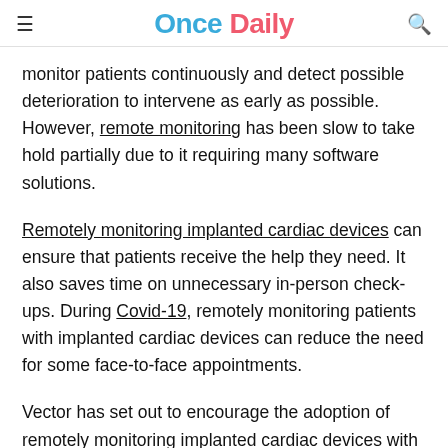Once Daily
monitor patients continuously and detect possible deterioration to intervene as early as possible. However, remote monitoring has been slow to take hold partially due to it requiring many software solutions.
Remotely monitoring implanted cardiac devices can ensure that patients receive the help they need. It also saves time on unnecessary in-person check-ups. During Covid-19, remotely monitoring patients with implanted cardiac devices can reduce the need for some face-to-face appointments.
Vector has set out to encourage the adoption of remotely monitoring implanted cardiac devices with a suite of